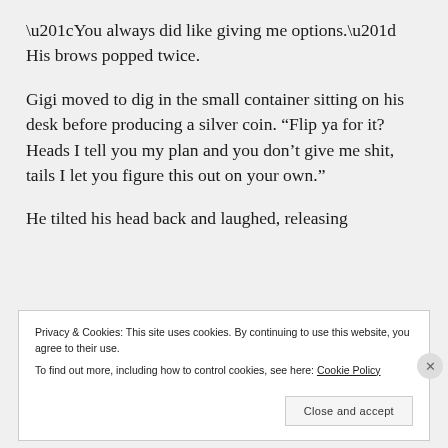“You always did like giving me options.” His brows popped twice.
Gigi moved to dig in the small container sitting on his desk before producing a silver coin. “Flip ya for it? Heads I tell you my plan and you don’t give me shit, tails I let you figure this out on your own.”
He tilted his head back and laughed, releasing
Privacy & Cookies: This site uses cookies. By continuing to use this website, you agree to their use.
To find out more, including how to control cookies, see here: Cookie Policy
Close and accept